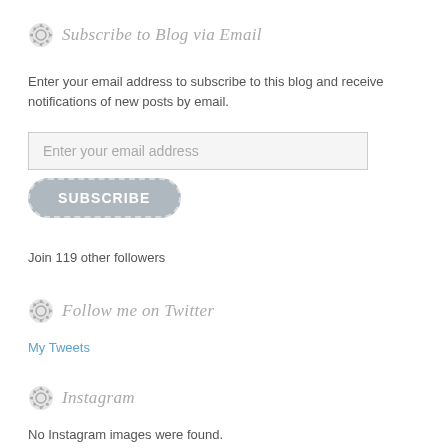Subscribe to Blog via Email
Enter your email address to subscribe to this blog and receive notifications of new posts by email.
[Figure (other): Email address input field with placeholder text 'Enter your email address']
[Figure (other): Subscribe button with dashed border and rounded corners]
Join 119 other followers
Follow me on Twitter
My Tweets
Instagram
No Instagram images were found.